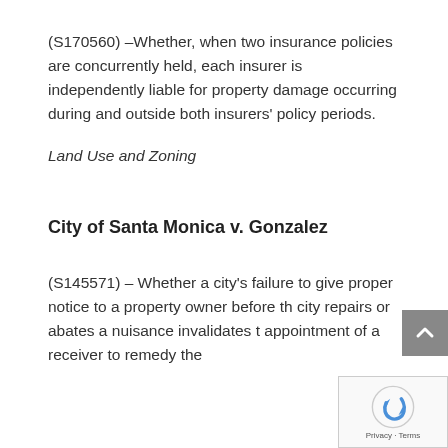(S170560) –Whether, when two insurance policies are concurrently held, each insurer is independently liable for property damage occurring during and outside both insurers' policy periods.
Land Use and Zoning
City of Santa Monica v. Gonzalez
(S145571) – Whether a city's failure to give proper notice to a property owner before the city repairs or abates a nuisance invalidates the appointment of a receiver to remedy the